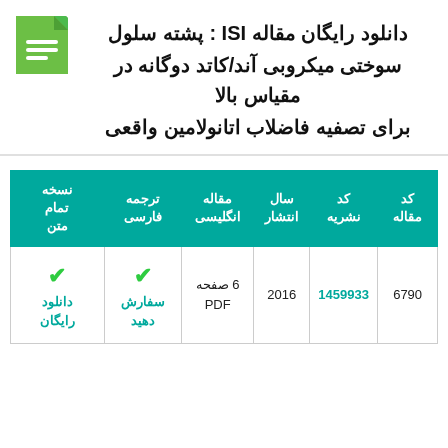دانلود رایگان مقاله ISI : پشته سلول سوختی میکروبی آند/کاتد دوگانه در مقیاس بالا برای تصفیه فاضلاب اتانولامین واقعی
| کد مقاله | کد نشریه | سال انتشار | مقاله انگلیسی | ترجمه فارسی | نسخه تمام متن |
| --- | --- | --- | --- | --- | --- |
| 6790 | 1459933 | 2016 | 6 صفحه PDF | سفارش دهید | دانلود رایگان |